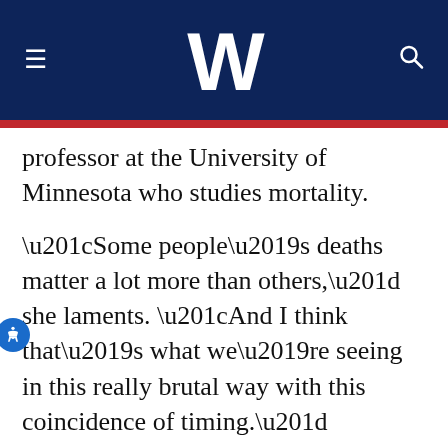W
professor at the University of Minnesota who studies mortality.
“Some people’s deaths matter a lot more than others,” she laments. “And I think that’s what we’re seeing in this really brutal way with this coincidence of timing.”
In Buffalo, the alleged shooter was a racist bent on killing as many Black people as he could, according to authorities. The family of 86-year-